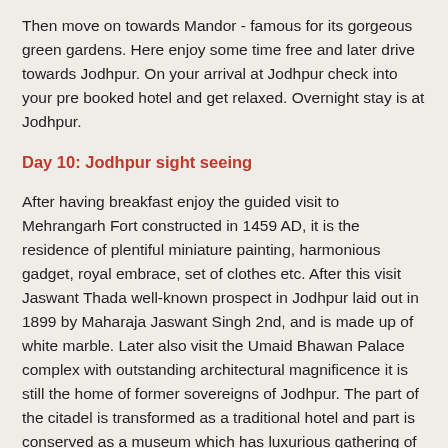Then move on towards Mandor - famous for its gorgeous green gardens. Here enjoy some time free and later drive towards Jodhpur. On your arrival at Jodhpur check into your pre booked hotel and get relaxed. Overnight stay is at Jodhpur.
Day 10: Jodhpur sight seeing
After having breakfast enjoy the guided visit to Mehrangarh Fort constructed in 1459 AD, it is the residence of plentiful miniature painting, harmonious gadget, royal embrace, set of clothes etc. After this visit Jaswant Thada well-known prospect in Jodhpur laid out in 1899 by Maharaja Jaswant Singh 2nd, and is made up of white marble. Later also visit the Umaid Bhawan Palace complex with outstanding architectural magnificence it is still the home of former sovereigns of Jodhpur. The part of the citadel is transformed as a traditional hotel and part is conserved as a museum which has luxurious gathering of weapons and ammunitions, regal clothing and momentos of royal family to...